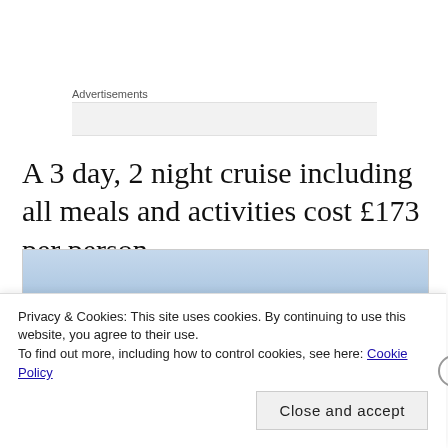Advertisements
A 3 day, 2 night cruise including all meals and activities cost £173 per person.
[Figure (photo): Partial view of boat masts against a blue sky]
Privacy & Cookies: This site uses cookies. By continuing to use this website, you agree to their use.
To find out more, including how to control cookies, see here: Cookie Policy